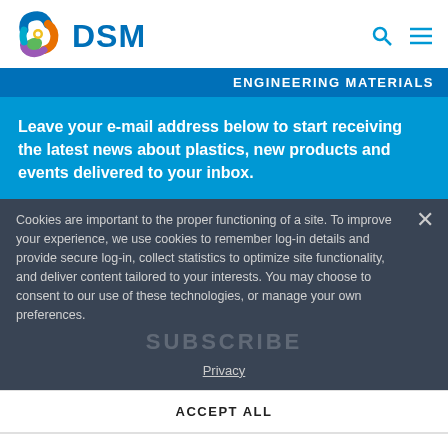[Figure (logo): DSM company logo with colorful spiral/leaf icon and DSM text in blue]
ENGINEERING MATERIALS
Leave your e-mail address below to start receiving the latest news about plastics, new products and events delivered to your inbox.
Cookies are important to the proper functioning of a site. To improve your experience, we use cookies to remember log-in details and provide secure log-in, collect statistics to optimize site functionality, and deliver content tailored to your interests. You may choose to consent to our use of these technologies, or manage your own preferences.
Privacy
ACCEPT ALL
DECLINE ALL
MANAGE SETTINGS